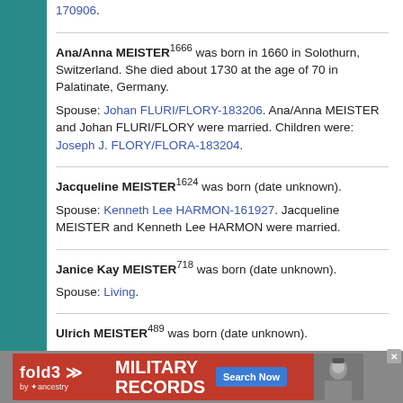170906.
Ana/Anna MEISTER1666 was born in 1660 in Solothurn, Switzerland. She died about 1730 at the age of 70 in Palatinate, Germany.
Spouse: Johan FLURI/FLORY-183206. Ana/Anna MEISTER and Johan FLURI/FLORY were married. Children were: Joseph J. FLORY/FLORA-183204.
Jacqueline MEISTER1624 was born (date unknown).
Spouse: Kenneth Lee HARMON-161927. Jacqueline MEISTER and Kenneth Lee HARMON were married.
Janice Kay MEISTER718 was born (date unknown).
Spouse: Living.
Ulrich MEISTER489 was born (date unknown).
Spouse: (Wife of MEISTER, Ulrich) -192191. (Wife of MEISTER, Ulrich) and Ulrich MEISTER were married. Children were: Verena MEISTER-192189.
[Figure (infographic): fold3 by Ancestry advertisement banner for Military Records with Search Now button]